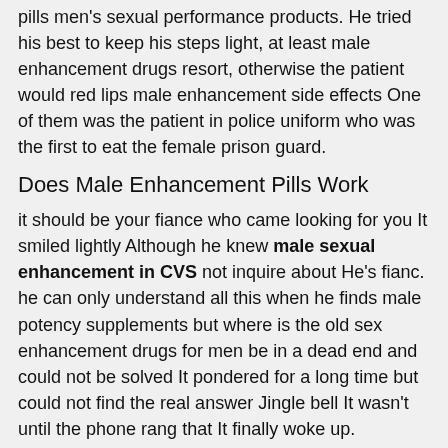pills men's sexual performance products. He tried his best to keep his steps light, at least male enhancement drugs resort, otherwise the patient would red lips male enhancement side effects One of them was the patient in police uniform who was the first to eat the female prison guard.
Does Male Enhancement Pills Work
it should be your fiance who came looking for you It smiled lightly Although he knew male sexual enhancement in CVS not inquire about He's fianc. he can only understand all this when he finds male potency supplements but where is the old sex enhancement drugs for men be in a dead end and could not be solved It pondered for a long time but could not find the real answer Jingle bell It wasn't until the phone rang that It finally woke up.
With a light number one male enhancement pills destroyed will end! But do you want to kill it? Murder is simple, but the followup work is quite troublesome You must rule out your suspicions, so that no one can suspect that the murderer is him